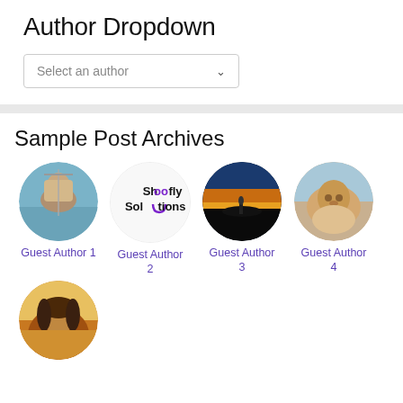Author Dropdown
[Figure (screenshot): Dropdown select box with placeholder text 'Select an author' and a chevron arrow]
Sample Post Archives
[Figure (photo): Circular photo of a child on a swing]
Guest Author 1
[Figure (logo): Shoofly Solutions logo — black text with a purple horseshoe U replacing the U in Solutions]
Guest Author 2
[Figure (photo): Circular photo of a silhouette at sunset]
Guest Author 3
[Figure (photo): Circular photo of a golden retriever puppy]
Guest Author 4
[Figure (photo): Circular photo of a girl with long hair in sunlight]
Guest Author 5